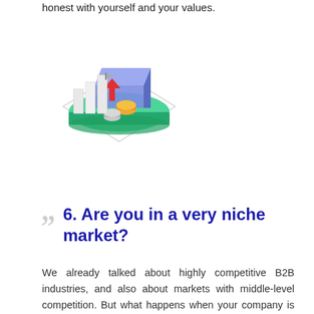honest with yourself and your values.
[Figure (illustration): Isometric illustration of financial/business concept with bar charts, coins, money, envelope and a smartphone on a diamond-shaped platform]
6. Are you in a very niche market?
We already talked about highly competitive B2B industries, and also about markets with middle-level competition. But what happens when your company is operating in a very